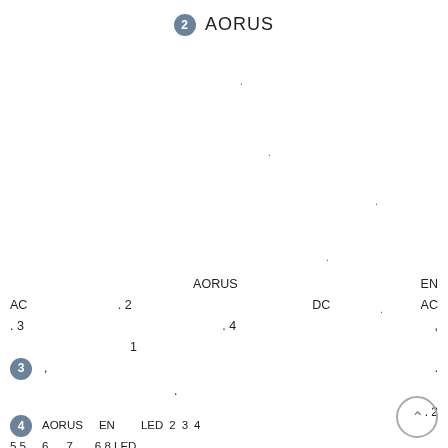2 AORUS
AORUS
AC . 2 DC AC EN
. 3 . 4 ,
1
3 , .
. 2
4 AORUS EN LED 2 3 4
5 5 6 7 6 8 LED ,
LED
HDD 7
2